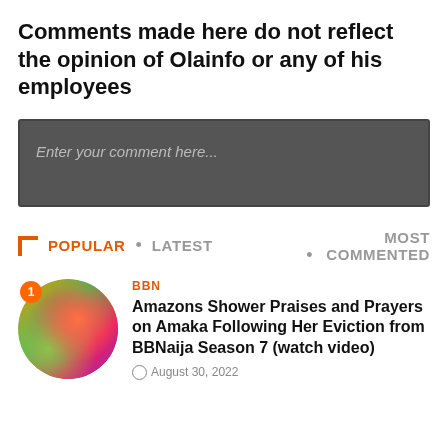Comments made here do not reflect the opinion of Olainfo or any of his employees
Enter your comment here...
POPULAR  •  LATEST  •  MOST COMMENTED
[Figure (photo): Circular thumbnail of a person at a colorful event with badge showing number 1]
BBN
Amazons Shower Praises and Prayers on Amaka Following Her Eviction from BBNaija Season 7 (watch video)
August 30, 2022